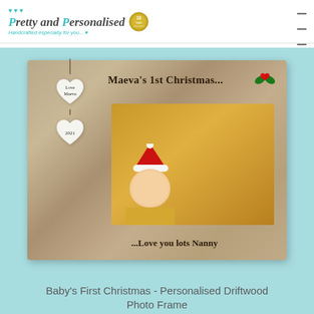Pretty and Personalised — Handcrafted especially for you...
[Figure (photo): A personalised driftwood photo frame reading 'Maeva's 1st Christmas...' on top and '...Love you lots Nanny' on the bottom, with hanging ceramic heart tags reading 'Love Maeva' and '2021', holly decoration in top-right corner, and a photo of a baby in a Santa hat.]
Baby's First Christmas - Personalised Driftwood Photo Frame